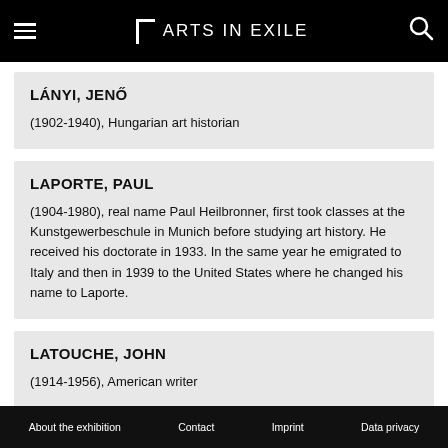Arts in Exile
LÁNYI, JENŐ
(1902-1940), Hungarian art historian
LAPORTE, PAUL
(1904-1980), real name Paul Heilbronner, first took classes at the Kunstgewerbeschule in Munich before studying art history. He received his doctorate in 1933. In the same year he emigrated to Italy and then in 1939 to the United States where he changed his name to Laporte.
LATOUCHE, JOHN
(1914-1956), American writer
About the exhibition  Contact  Imprint  Data privacy